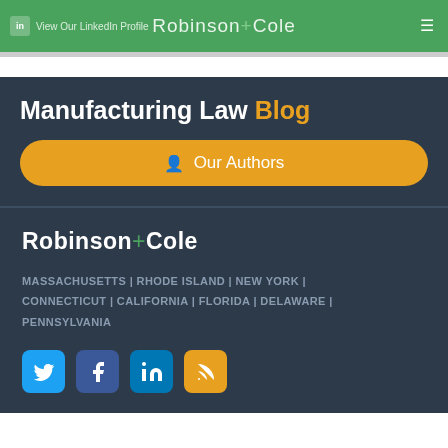View Our LinkedIn Profile | Robinson+Cole
Manufacturing Law Blog
Our Authors
[Figure (logo): Robinson+Cole law firm logo in white text with green plus sign]
MASSACHUSETTS | RHODE ISLAND | NEW YORK | CONNECTICUT | CALIFORNIA | FLORIDA | DELAWARE | PENNSYLVANIA
[Figure (infographic): Social media icons: Twitter (blue), Facebook (dark blue), LinkedIn (blue), RSS (orange)]